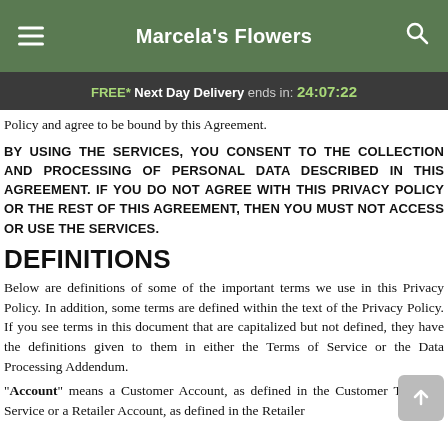Marcela's Flowers
FREE* Next Day Delivery ends in: 24:07:22
Policy and agree to be bound by this Agreement.
BY USING THE SERVICES, YOU CONSENT TO THE COLLECTION AND PROCESSING OF PERSONAL DATA DESCRIBED IN THIS AGREEMENT. IF YOU DO NOT AGREE WITH THIS PRIVACY POLICY OR THE REST OF THIS AGREEMENT, THEN YOU MUST NOT ACCESS OR USE THE SERVICES.
DEFINITIONS
Below are definitions of some of the important terms we use in this Privacy Policy. In addition, some terms are defined within the text of the Privacy Policy. If you see terms in this document that are capitalized but not defined, they have the definitions given to them in either the Terms of Service or the Data Processing Addendum.
"Account" means a Customer Account, as defined in the Customer Terms of Service or a Retailer Account, as defined in the Retailer